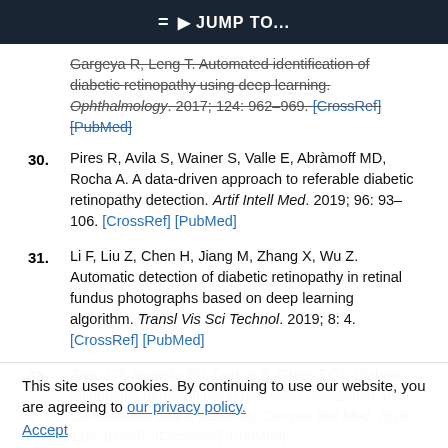JUMP TO...
Gargeya R, Leng T. Automated identification of diabetic retinopathy using deep learning. Ophthalmology. 2017; 124: 962–969. [CrossRef] [PubMed]
30. Pires R, Avila S, Wainer S, Valle E, Abràmoff MD, Rocha A. A data-driven approach to referable diabetic retinopathy detection. Artif Intell Med. 2019; 96: 93–106. [CrossRef] [PubMed]
31. Li F, Liu Z, Chen H, Jiang M, Zhang X, Wu Z. Automatic detection of diabetic retinopathy in retinal fundus photographs based on deep learning algorithm. Transl Vis Sci Technol. 2019; 8: 4. [CrossRef] [PubMed]
32. Zago GT, Andreão RV, Dorizzi B, Salles EOT. Diabetic retinopathy detection using red lesion localization and convolutional neural networks. Comput Biol Med. 2020; 116: 103537. [CrossRef] [PubMed]
This site uses cookies. By continuing to use our website, you are agreeing to our privacy policy. Accept